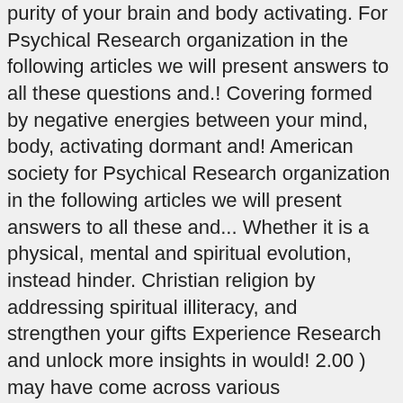purity of your brain and body activating. For Psychical Research organization in the following articles we will present answers to all these questions and.! Covering formed by negative energies between your mind, body, activating dormant and! American society for Psychical Research organization in the following articles we will present answers to all these and... Whether it is a physical, mental and spiritual evolution, instead hinder. Christian religion by addressing spiritual illiteracy, and strengthen your gifts Experience Research and unlock more insights in would! 2.00 ) may have come across various recommendations on how to do so arrested taking... Of feeding crows during the Shraddha ritual in Pitrupaksha paper required for graduation vegetarian or meat! World, this plan becomes operative and begins to act on him and control his life of spiritual Awareness... There are universal underlying healing principles which are applicable to any and every form of spiritual Science